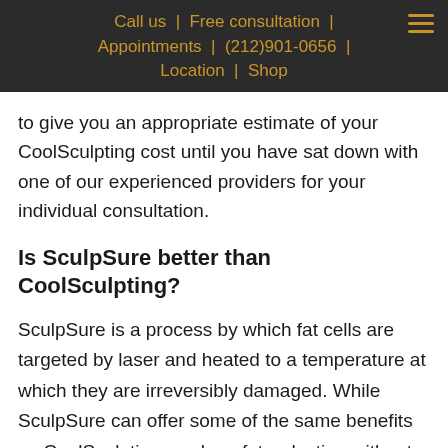Call us | Free consultation | Appointments | (212)901-0656 | Location | Shop
to give you an appropriate estimate of your CoolSculpting cost until you have sat down with one of our experienced providers for your individual consultation.
Is SculpSure better than CoolSculpting?
SculpSure is a process by which fat cells are targeted by laser and heated to a temperature at which they are irreversibly damaged. While SculpSure can offer some of the same benefits as CoolSculpting, such as fat reduction without downtime, there are some important things to consider when deciding which is right for you. First,